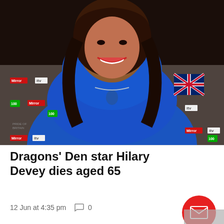[Figure (photo): Woman with dark brown hair wearing a bright blue wrap dress and blue gemstone necklace, smiling at what appears to be a Pride of Britain awards ceremony. Backdrop shows Mirror, ITV, and other sponsor logos including a Union Jack flag. This is Hilary Devey.]
Dragons' Den star Hilary Devey dies aged 65
12 Jun at 4:35 pm    0